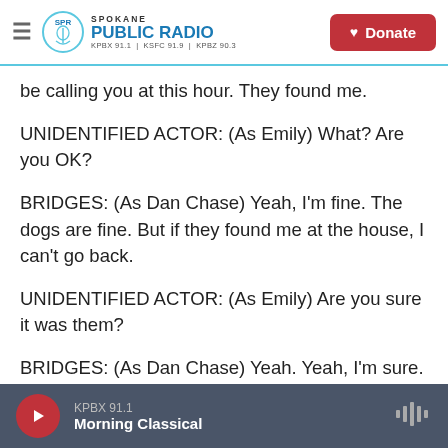Spokane Public Radio — KPBX 91.1 | KSFC 91.9 | KPBZ 90.3 — Donate
be calling you at this hour. They found me.
UNIDENTIFIED ACTOR: (As Emily) What? Are you OK?
BRIDGES: (As Dan Chase) Yeah, I'm fine. The dogs are fine. But if they found me at the house, I can't go back.
UNIDENTIFIED ACTOR: (As Emily) Are you sure it was them?
BRIDGES: (As Dan Chase) Yeah. Yeah, I'm sure.
KPBX 91.1 — Morning Classical